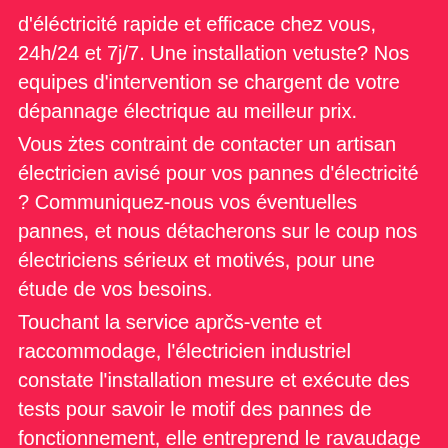d'éléctricité rapide et efficace chez vous, 24h/24 et 7j/7. Une installation vetuste? Nos equipes d'intervention se chargent de votre dépannage électrique au meilleur prix.
Vous żtes contraint de contacter un artisan électricien avisé pour vos pannes d'électricité ? Communiquez-nous vos éventuelles pannes, et nous détacherons sur le coup nos électriciens sérieux et motivés, pour une étude de vos besoins.
Touchant la service aprčs-vente et raccommodage, l'électricien industriel constate l'installation mesure et exécute des tests pour savoir le motif des pannes de fonctionnement, elle entreprend le ravaudage ou la succession des éléments électriques ou autres annexes délabrés.
Notre entreprise, spécialiste d' électricité générale dans votre voisinage vous accompagne depuis de nombreuses années. Tous nos électriciens ont une